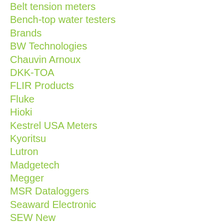Belt tension meters
Bench-top water testers
Brands
BW Technologies
Chauvin Arnoux
DKK-TOA
FLIR Products
Fluke
Hioki
Kestrel USA Meters
Kyoritsu
Lutron
Madgetech
Megger
MSR Dataloggers
Seaward Electronic
SEW New
Tenmars
TES New
Testo
Humidity
Temperature
Thermal imager
Testo New
By Brands
Cable Testers